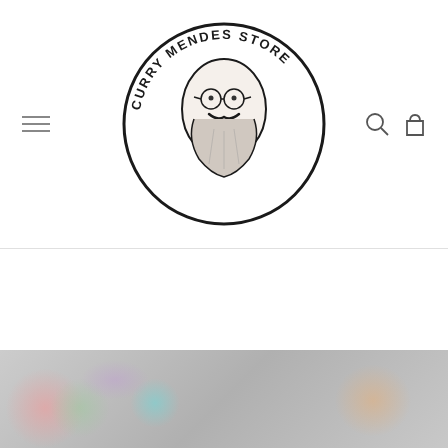[Figure (logo): Curry Mendes Store circular logo featuring an illustrated face with glasses, mustache and beard, with store name text around the circle]
[Figure (photo): Bottom partial image showing colorful decorative items or artwork, appears to be merchandise from the store]